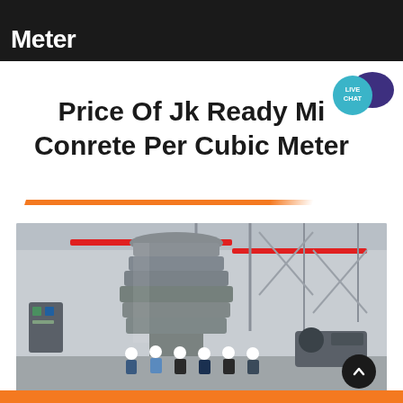Meter
[Figure (illustration): Live chat speech bubble icon with teal circle and dark purple speech bubble]
Price Of Jk Ready Mi Conrete Per Cubic Meter
[Figure (photo): Industrial facility interior showing a large gray cylindrical concrete mixing tower with tiered rings, surrounded by workers in hard hats and safety gear standing at its base. The factory building has steel framework, red overhead beams, and various machinery in the background.]